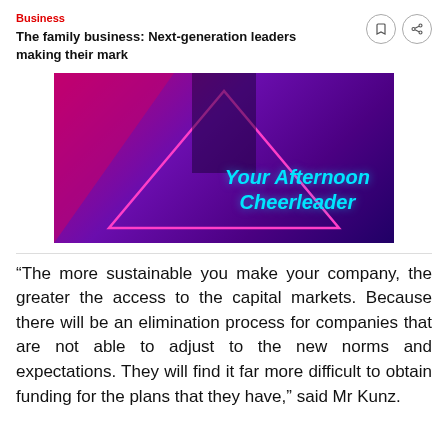Business
The family business: Next-generation leaders making their mark
[Figure (photo): Advertisement banner with purple and pink gradient background, a triangle outline in pink neon, and text reading 'Your Afternoon Cheerleader' in cyan italic bold font.]
“The more sustainable you make your company, the greater the access to the capital markets. Because there will be an elimination process for companies that are not able to adjust to the new norms and expectations. They will find it far more difficult to obtain funding for the plans that they have,” said Mr Kunz.